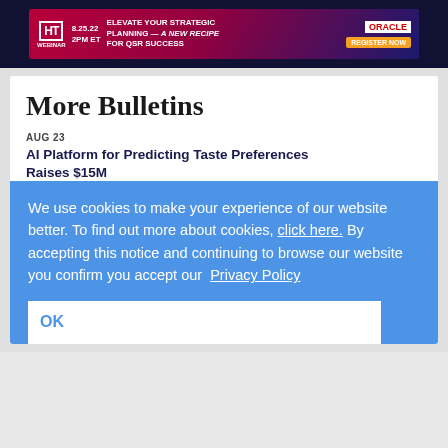[Figure (other): HT Webinar advertisement banner: ELEVATE YOUR STRATEGIC PLANNING — A NEW RECIPE FOR QSR SUCCESS. Oracle Register Now. 8.25.22 2PM ET]
More Bulletins
AUG 23
AI Platform for Predicting Taste Preferences Raises $15M
AUG 23
Duetto Chosen by Soul Community Planet (SCP) Hotels for Revenue Optimization
AUG 23
HotelPORT Announces New Agreement with Tech Leader Sabre
AUG 23
We use cookies to make your experience of our website better. To find out more about cookies, click here. By accepting this notice and continuing to browse our website you confirm you accept our Privacy Policy